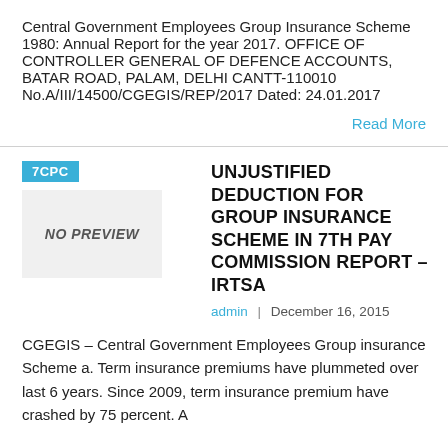Central Government Employees Group Insurance Scheme 1980: Annual Report for the year 2017. OFFICE OF CONTROLLER GENERAL OF DEFENCE ACCOUNTS, BATAR ROAD, PALAM, DELHI CANTT-110010 No.A/III/14500/CGEGIS/REP/2017 Dated: 24.01.2017
Read More
7CPC
[Figure (other): No Preview placeholder image box with italic bold text 'NO PREVIEW']
UNJUSTIFIED DEDUCTION FOR GROUP INSURANCE SCHEME IN 7TH PAY COMMISSION REPORT – IRTSA
admin | December 16, 2015
CGEGIS – Central Government Employees Group insurance Scheme a. Term insurance premiums have plummeted over last 6 years. Since 2009, term insurance premium have crashed by 75 percent. A